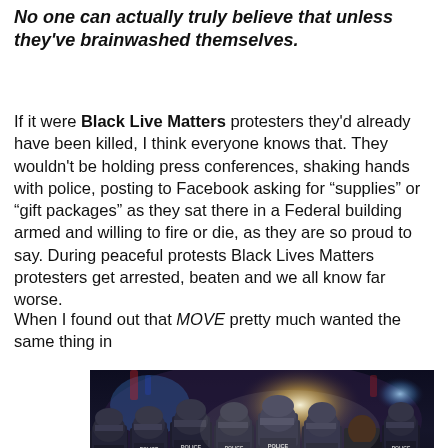No one can actually truly believe that unless they've brainwashed themselves.
If it were Black Live Matters protesters they'd already have been killed, I think everyone knows that. They wouldn't be holding press conferences, shaking hands with police, posting to Facebook asking for “supplies” or “gift packages” as they sat there in a Federal building armed and willing to fire or die, as they are so proud to say. During peaceful protests Black Lives Matters protesters get arrested, beaten and we all know far worse.
When I found out that MOVE pretty much wanted the same thing in
[Figure (photo): A nighttime photo of a row of police officers in riot gear and helmets, holding shields, with bright lights and a crowd visible in the background.]